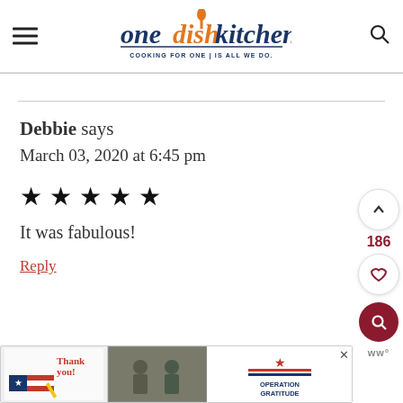one dish kitchen - COOKING FOR ONE IS ALL WE DO.
Debbie says
March 03, 2020 at 6:45 pm
[Figure (other): Five black star rating icons]
It was fabulous!
Reply
[Figure (other): Advertisement banner: Thank You Operation Gratitude with military imagery]